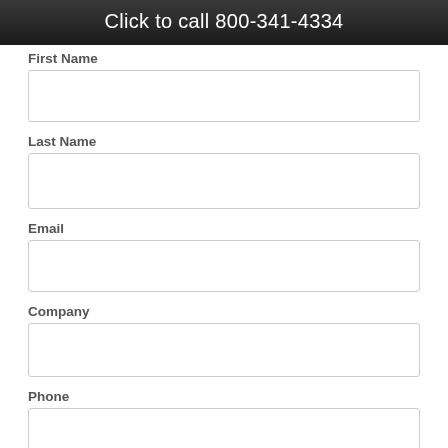Click to call 800-341-4334
First Name
Last Name
Email
Company
Phone
DESCRIPTION